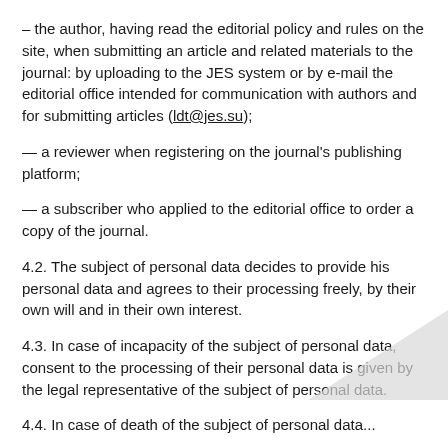– the author, having read the editorial policy and rules on the site, when submitting an article and related materials to the journal: by uploading to the JES system or by e-mail the editorial office intended for communication with authors and for submitting articles (ldt@jes.su);
— a reviewer when registering on the journal's publishing platform;
— a subscriber who applied to the editorial office to order a copy of the journal.
4.2. The subject of personal data decides to provide his personal data and agrees to their processing freely, by their own will and in their own interest.
4.3. In case of incapacity of the subject of personal data, consent to the processing of their personal data is given by the legal representative of the subject of personal data.
4.4. In case of death of the subject of personal data...